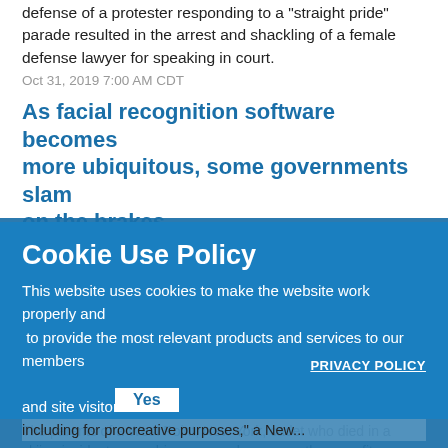defense of a protester responding to a "straight pride" parade resulted in the arrest and shackling of a female defense lawyer for speaking in court.
Oct 31, 2019 7:00 AM CDT
As facial recognition software becomes more ubiquitous, some governments slam on the brakes
This year, the cities of San Francisco, Somerville, Massachusetts, and Oakland, California, all banned the government's use of facial recognition technology as part of a larger legislative package overseeing police surveillance technology. Now, a few other states are looking to, at a minimum, press pause on the police use of this technology.
Cookie Use Policy
This website uses cookies to make the website work properly and to provide the most relevant products and services to our members and site visitors.
PRIVACY POLICY
Judge says parents may use frozen sperm of deceased cadet son to produ...
The parents of a West Point, New York, cadet who died in a skiing incident ... use his preserved sperm as they see fit, including for procreative purposes," a New...